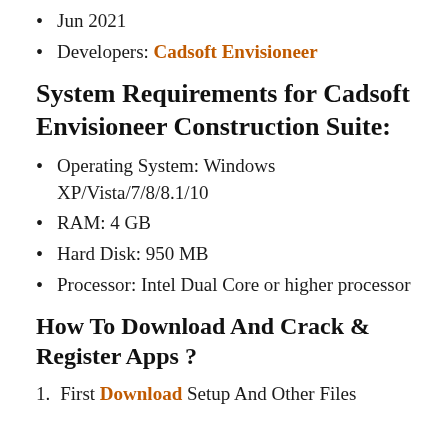Jun 2021
Developers: Cadsoft Envisioneer
System Requirements for Cadsoft Envisioneer Construction Suite:
Operating System: Windows XP/Vista/7/8/8.1/10
RAM: 4 GB
Hard Disk: 950 MB
Processor: Intel Dual Core or higher processor
How To Download And Crack & Register Apps ?
First Download Setup And Other Files